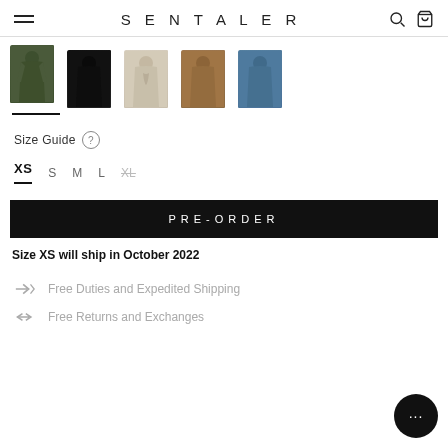SENTALER
[Figure (photo): Five dress thumbnails in color variants: olive green, black, cream/beige, tan/camel, and steel blue. The olive green thumbnail is selected (underlined).]
Size Guide ?
XS  S  M  L  XL (XL is sold out/unavailable)
PRE-ORDER
Size XS will ship in October 2022
Free Duties and Expedited Shipping
Free Returns and Exchanges